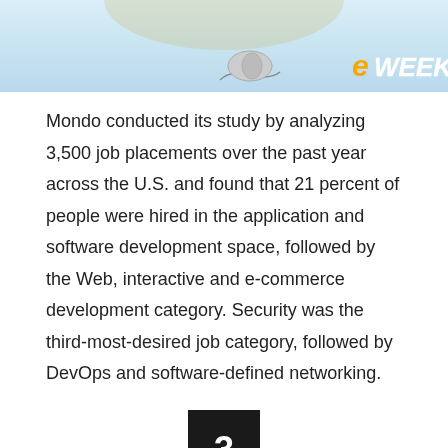[Figure (photo): Top banner image with eWEEK logo badge in orange/white on blue-grey background, partially cropped golden 3D numbers visible at top]
Mondo conducted its study by analyzing 3,500 job placements over the past year across the U.S. and found that 21 percent of people were hired in the application and software development space, followed by the Web, interactive and e-commerce development category. Security was the third-most-desired job category, followed by DevOps and software-defined networking.
[Figure (infographic): Black square badge with white number 3 centered inside]
A Look at Desired Skill Sets Among Tech Hires
[Figure (screenshot): Bottom partial image showing teal/blue play arrow triangle on light blue background with white advertisement overlay and close X button]